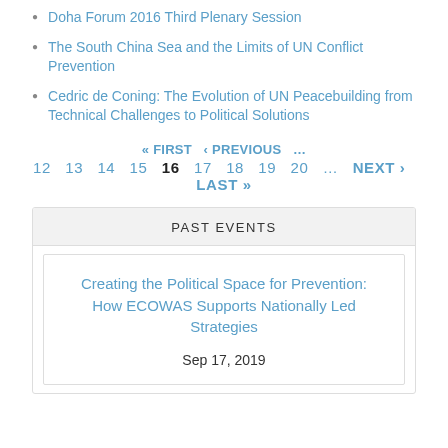Doha Forum 2016 Third Plenary Session
The South China Sea and the Limits of UN Conflict Prevention
Cedric de Coning: The Evolution of UN Peacebuilding from Technical Challenges to Political Solutions
« FIRST ‹ PREVIOUS … 12 13 14 15 16 17 18 19 20 … NEXT › LAST »
PAST EVENTS
Creating the Political Space for Prevention: How ECOWAS Supports Nationally Led Strategies
Sep 17, 2019